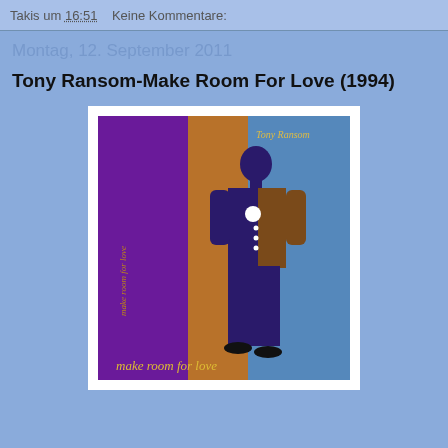Takis um 16:51   Keine Kommentare:
Montag, 12. September 2011
Tony Ransom-Make Room For Love (1994)
[Figure (photo): Album cover for Tony Ransom - Make Room For Love (1994). Three vertical panels: purple on left with italic text 'make room for love', orange/brown in center, blue on right. A stylized figure of a man in a varsity jacket stands across the panels. 'Tony Ransom' text in gold at top right. 'make room for love' written in cursive gold at bottom.]